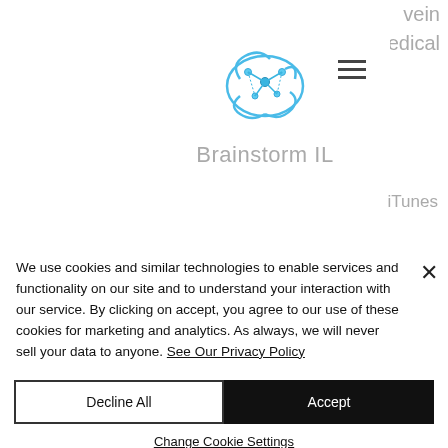[Figure (logo): Brainstorm IL brain logo with teal/blue network graphic above text 'Brainstorm IL' in gray]
[Figure (logo): Kadimastem logo - white card with 'KADIMASTEM' text in dark navy bold font]
Kadimastem
We use cookies and similar technologies to enable services and functionality on our site and to understand your interaction with our service. By clicking on accept, you agree to our use of these cookies for marketing and analytics. As always, we will never sell your data to anyone. See Our Privacy Policy
Decline All
Accept
Change Cookie Settings